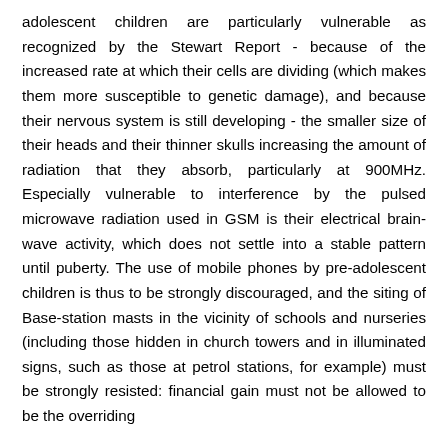adolescent children are particularly vulnerable as recognized by the Stewart Report - because of the increased rate at which their cells are dividing (which makes them more susceptible to genetic damage), and because their nervous system is still developing - the smaller size of their heads and their thinner skulls increasing the amount of radiation that they absorb, particularly at 900MHz. Especially vulnerable to interference by the pulsed microwave radiation used in GSM is their electrical brain-wave activity, which does not settle into a stable pattern until puberty. The use of mobile phones by pre-adolescent children is thus to be strongly discouraged, and the siting of Base-station masts in the vicinity of schools and nurseries (including those hidden in church towers and in illuminated signs, such as those at petrol stations, for example) must be strongly resisted: financial gain must not be allowed to be the overriding